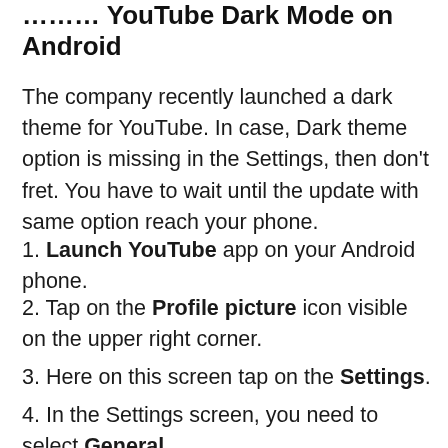Android
The company recently launched a dark theme for YouTube. In case, Dark theme option is missing in the Settings, then don't fret. You have to wait until the update with same option reach your phone.
1. Launch YouTube app on your Android phone.
2. Tap on the Profile picture icon visible on the upper right corner.
3. Here on this screen tap on the Settings.
4. In the Settings screen, you need to select General.